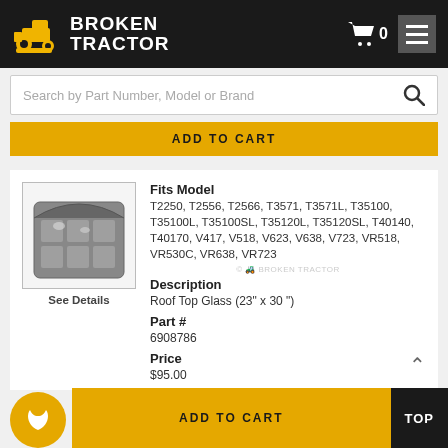BROKEN TRACTOR
Search by Part Number, Model or Brand
ADD TO CART
[Figure (photo): Product photo of a Roof Top Glass panel, rectangular with arched top, dark tinted glass]
See Details
Fits Model
T2250, T2556, T2566, T3571, T3571L, T35100, T35100L, T35100SL, T35120L, T35120SL, T40140, T40170, V417, V518, V623, V638, V723, VR518, VR530C, VR638, VR723
Description
Roof Top Glass (23" x 30 ")
Part #
6908786
Price
$95.00
ADD TO CART
TOP